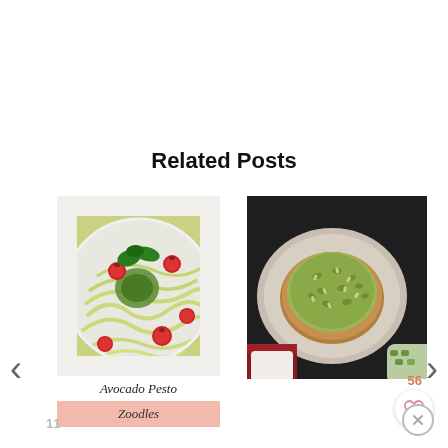Related Posts
[Figure (photo): Food photo of avocado pesto zoodles in a white bowl with cherry tomatoes and fresh basil]
Avocado Pesto
Zoodles
[Figure (photo): Food photo of an open-faced sandwich or toast with tuna/avocado topping and seeds on a ceramic plate, dark background with sauce jar and peas visible]
56
11